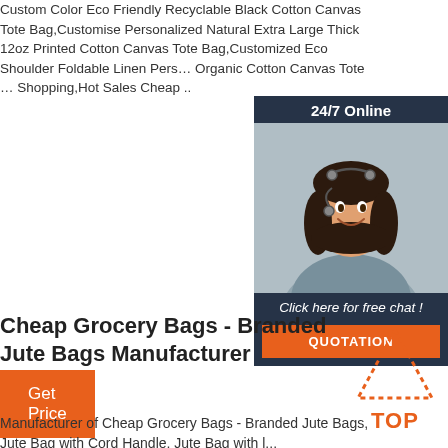Custom Color Eco Friendly Recyclable Black Cotton Canvas Tote Bag,Customise Personalized Natural Extra Large Thick 12oz Printed Cotton Canvas Tote Bag,Customized Eco Shoulder Foldable Linen Personalized Organic Cotton Canvas Tote Bag for Shopping,Hot Sales Cheap ..
[Figure (other): Customer service chat widget with a smiling woman wearing a headset, dark blue background, '24/7 Online' header, 'Click here for free chat!' text, and an orange QUOTATION button.]
Get Price
Cheap Grocery Bags - Branded Jute Bags Manufacturer
[Figure (other): Orange dotted triangle TOP badge icon]
Manufacturer of Cheap Grocery Bags - Branded Jute Bags, Jute Bag with Cord Handle, Jute Bag with leather ...